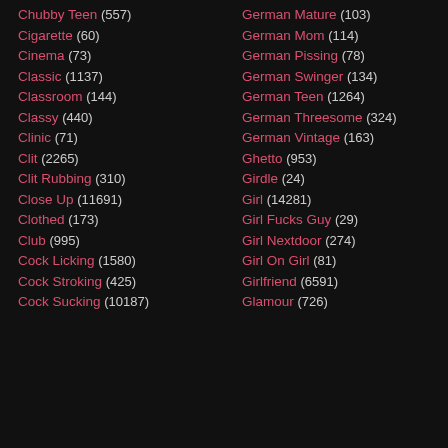Chubby Teen (557)
Cigarette (60)
Cinema (73)
Classic (1137)
Classroom (144)
Classy (440)
Clinic (71)
Clit (2265)
Clit Rubbing (310)
Close Up (11691)
Clothed (173)
Club (995)
Cock Licking (1580)
Cock Stroking (425)
Cock Sucking (10187)
German Mature (103)
German Mom (114)
German Pissing (78)
German Swinger (134)
German Teen (1264)
German Threesome (324)
German Vintage (163)
Ghetto (953)
Girdle (24)
Girl (14281)
Girl Fucks Guy (29)
Girl Nextdoor (274)
Girl On Girl (81)
Girlfriend (6591)
Glamour (726)